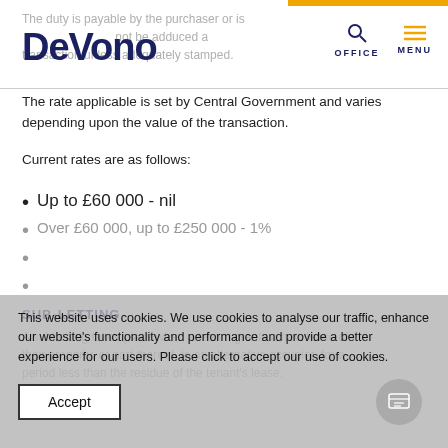DeVono | OFFICE | MENU
The rate applicable is set by Central Government and varies depending upon the value of the transaction.
Current rates are as follows:
Up to £60 000 - nil
Over £60 000, up to £250 000 - 1%
This website uses cookies. We use cookies to analyse our traffic, enhance our website's functionality and performance and provide a better experience for our users. Please click to accept our use of cookies.
Accept
SUB-LETTING
A sub-letting takes place when a tenant grants a new lease of their property, or part thereof, to an alternative occupier, for a period less than the residue of the tenant's lease.